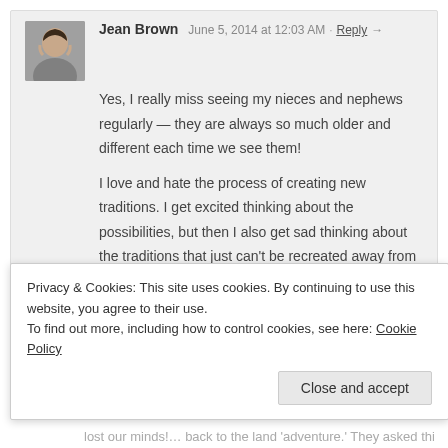[Figure (illustration): Avatar photo of Jean Brown, a woman with dark hair]
Jean Brown  June 5, 2014 at 12:03 AM  Reply →
Yes, I really miss seeing my nieces and nephews regularly — they are always so much older and different each time we see them!

I love and hate the process of creating new traditions. I get excited thinking about the possibilities, but then I also get sad thinking about the traditions that just can't be recreated away from home. It's tough.

Thanks for sharing!
[Figure (illustration): Mosaic/quilt pattern avatar for Anonymous commenter]
Anonymous  April 16, 2014 at 10:05 PM  Reply →
Privacy & Cookies: This site uses cookies. By continuing to use this website, you agree to their use.
To find out more, including how to control cookies, see here: Cookie Policy
Close and accept
lost our minds!… back to the land 'adventure.' They asked things